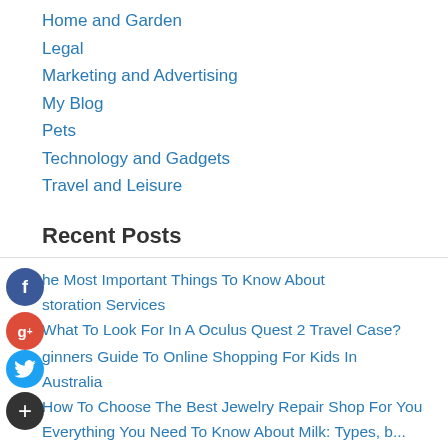Home and Garden
Legal
Marketing and Advertising
My Blog
Pets
Technology and Gadgets
Travel and Leisure
Recent Posts
The Most Important Things To Know About Restoration Services
What To Look For In A Oculus Quest 2 Travel Case?
Beginners Guide To Online Shopping For Kids In Australia
How To Choose The Best Jewelry Repair Shop For You
Everything You Need To Know About Milk: Types, b...